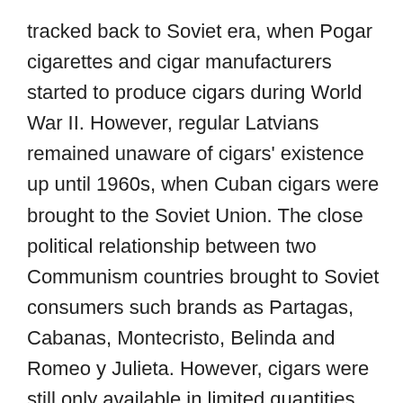tracked back to Soviet era, when Pogar cigarettes and cigar manufacturers started to produce cigars during World War II. However, regular Latvians remained unaware of cigars' existence up until 1960s, when Cuban cigars were brought to the Soviet Union. The close political relationship between two Communism countries brought to Soviet consumers such brands as Partagas, Cabanas, Montecristo, Belinda and Romeo y Julieta. However, cigars were still only available in limited quantities and with few stores actually offering them in the whole of Latvia. As a result, cigars started to gain awareness and raise interest among average consumers only in late 1990s, when Tabakas Nams Grupa started to expand its network of specialised tobacco stores.